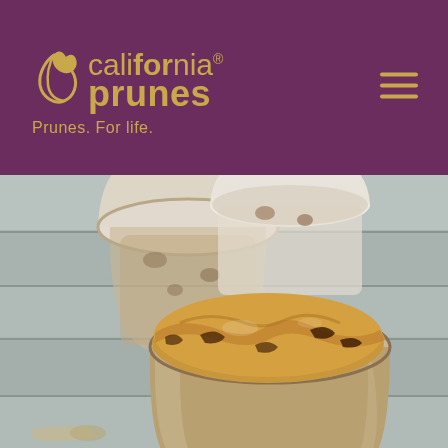[Figure (logo): California Prunes logo with decorative swirl icon, brand name in two lines ('california' and 'prunes'), registered trademark symbol, and tagline 'Prunes. For life.' in gold on dark purple background]
[Figure (photo): Close-up food photo of peanut butter and prune mixture in a glass mason jar in the foreground, with a paper cup containing a similar mixture in the background, on a gray wooden surface]